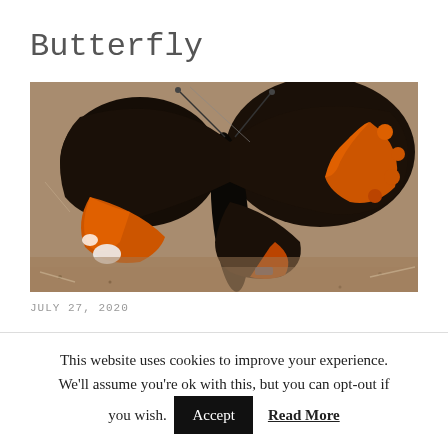Butterfly
[Figure (photo): Close-up photo of a Red Admiral butterfly with wings spread open, showing dark brown/black wings with orange-red bands and white spots, resting on sandy/gravelly ground.]
JULY 27, 2020
This website uses cookies to improve your experience. We'll assume you're ok with this, but you can opt-out if you wish.
Accept   Read More